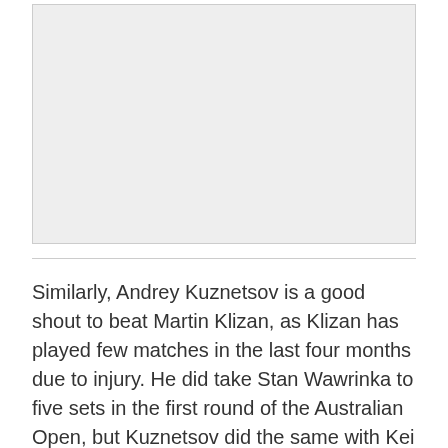[Figure (other): Light gray rectangular image placeholder area]
Similarly, Andrey Kuznetsov is a good shout to beat Martin Klizan, as Klizan has played few matches in the last four months due to injury. He did take Stan Wawrinka to five sets in the first round of the Australian Open, but Kuznetsov did the same with Kei Nishikori.